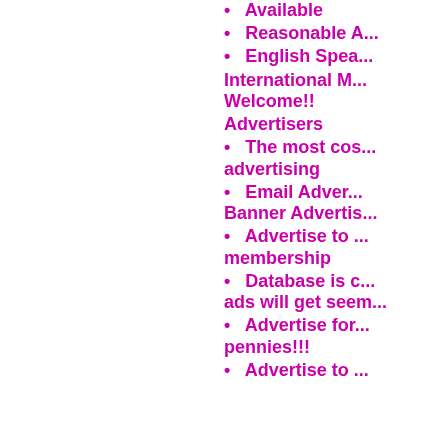Available
Reasonable A...
English Spea...
International M... Welcome!!
Advertisers
The most cos... advertising
Email Adver... Banner Advertis...
Advertise to ... membership
Database is c... ads will get seem...
Advertise for ... pennies!!!
Advertise to ...